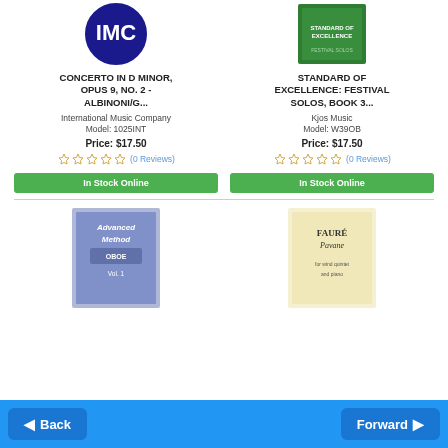[Figure (photo): IMC logo - blue circular logo with white lettering]
CONCERTO IN D MINOR, OPUS 9, NO. 2 - ALBINONI/G...
International Music Company
Model: 1025INT
Price: $17.50
(0 Reviews)
In Stock Online
[Figure (photo): Standard of Excellence Festival Solos Book 3 cover - green book cover with music imagery]
STANDARD OF EXCELLENCE: FESTIVAL SOLOS, BOOK 3...
Kjos Music
Model: W39OB
Price: $17.50
(0 Reviews)
In Stock Online
[Figure (photo): Advanced Method Oboe Vol. 1 book cover - blue/purple cover]
[Figure (photo): Faure Pavane sheet music cover - cream/yellow colored cover]
Back  Forward